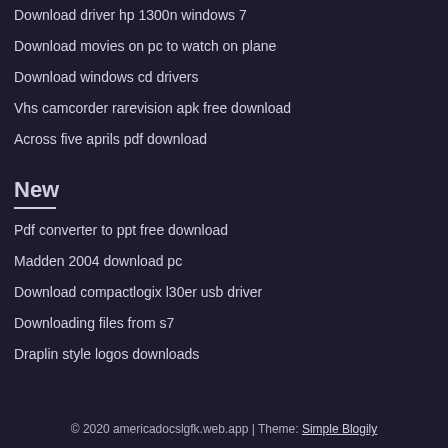Download driver hp 1300n windows 7
Download movies on pc to watch on plane
Download windows cd drivers
Vhs camcorder rarevision apk free download
Across five aprils pdf download
New
Pdf converter to ppt free download
Madden 2004 download pc
Download compactlogix l30er usb driver
Downloading files from s7
Draplin style logos downloads
© 2020 americadocslgfk.web.app | Theme: Simple Blogily